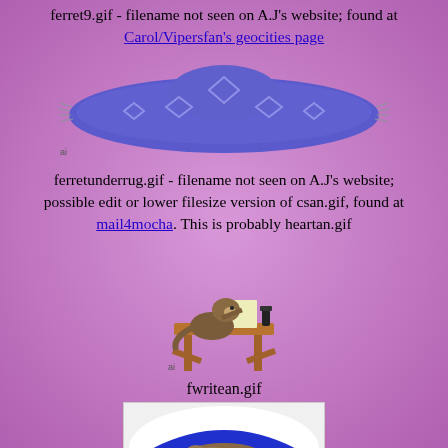ferret9.gif - filename not seen on A.J's website; found at Carol/Vipersfan's geocities page
[Figure (illustration): A blue decorative rug with purple diamond patterns and fringe on both ends, illustrated in pixel/gif style. Small 'ai' watermark in bottom left corner.]
ferretunderrug.gif - filename not seen on A.J's website; possible edit or lower filesize version of csan.gif, found at mail4mocha. This is probably heartan.gif
[Figure (illustration): A ferret sitting at a wooden desk writing with a quill pen. Illustrated in gif/pixel art style. Small 'ai' watermark visible.]
fwritean.gif
[Figure (photo): A ferret sleeping/lying in a blue hammock or sling, viewed from above. The hammock appears to be fabric with white edges and a blue interior.]